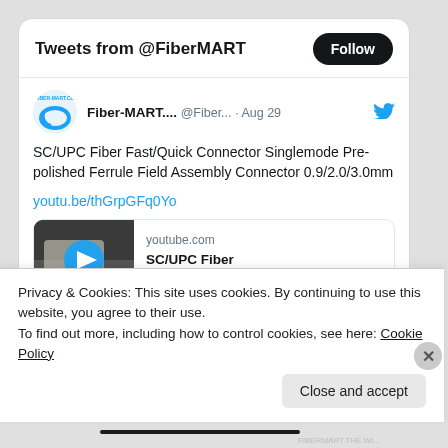Tweets from @FiberMART
Fiber-MART.... @Fiber... · Aug 29
SC/UPC Fiber Fast/Quick Connector Singlemode Pre-polished Ferrule Field Assembly Connector 0.9/2.0/3.0mm
youtu.be/thGrpGFq0Yo
[Figure (screenshot): YouTube video thumbnail showing hands assembling a fiber connector, with a blue play button overlay. Below thumbnail: youtube.com / SC/UPC Fiber Fast/Quick Connector ...]
Privacy & Cookies: This site uses cookies. By continuing to use this website, you agree to their use.
To find out more, including how to control cookies, see here: Cookie Policy